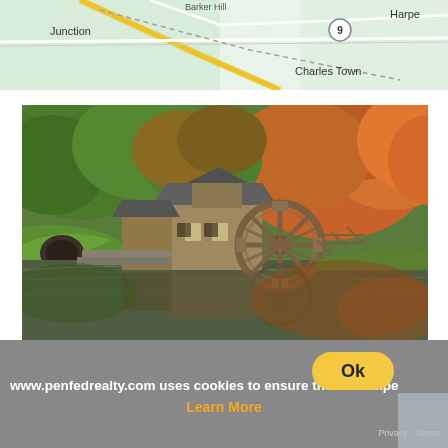[Figure (map): Google Maps style map showing Junction and Charles Town area with road route 9, green terrain, roads in yellow/white]
[Figure (photo): Scenic autumn photo of a historic wooden water mill with a large waterwheel beside a calm reflective pond, surrounded by vibrant orange and green foliage]
www.penfedrealty.com uses cookies to ensure the best expe
Learn More